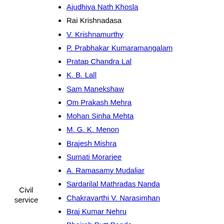Ajudhiya Nath Khosla
Rai Krishnadasa
V. Krishnamurthy
P. Prabhakar Kumaramangalam
Pratap Chandra Lal
K. B. Lall
Sam Manekshaw
Om Prakash Mehra
Mohan Sinha Mehta
M. G. K. Menon
Brajesh Mishra
Sumati Morarjee
A. Ramasamy Mudaliar
Sardarilal Mathradas Nanda
Chakravarthi V. Narasimhan
Braj Kumar Nehru
Bhairab Dutt Pande
Ghananand Pande
Vijaya Lakshmi Pandit
T. V. Rajeswar
C. R. Krishnaswamy Rao
Civil service